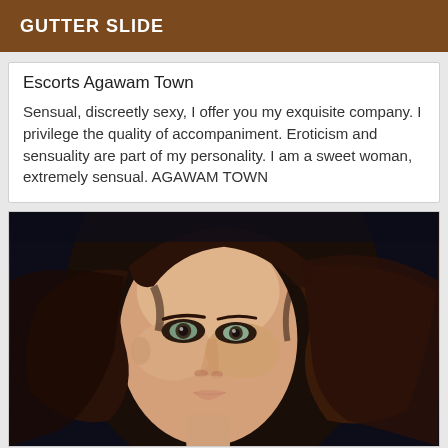GUTTER SLIDE
Escorts Agawam Town
Sensual, discreetly sexy, I offer you my exquisite company. I privilege the quality of accompaniment. Eroticism and sensuality are part of my personality. I am a sweet woman, extremely sensual. AGAWAM TOWN
[Figure (photo): Close-up portrait photo of a young woman with brown hair, light skin, and light-colored eyes against a dark background.]